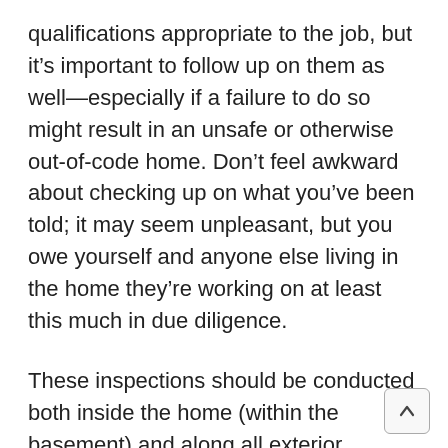qualifications appropriate to the job, but it's important to follow up on them as well—especially if a failure to do so might result in an unsafe or otherwise out-of-code home. Don't feel awkward about checking up on what you've been told; it may seem unpleasant, but you owe yourself and anyone else living in the home they're working on at least this much in due diligence.
These inspections should be conducted both inside the home (within the basement) and along all exterior surfaces of the foundation. In order to make absolutely sure your foundation is in the best possible condition, a professional should be the one to conduct the investigation of your foundation and assess the situation. By hiring a